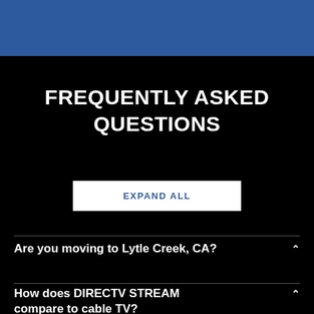[Figure (other): Blue header bar at top of page]
FREQUENTLY ASKED QUESTIONS
EXPAND ALL
Are you moving to Lytle Creek, CA?
How does DIRECTV STREAM compare to cable TV?